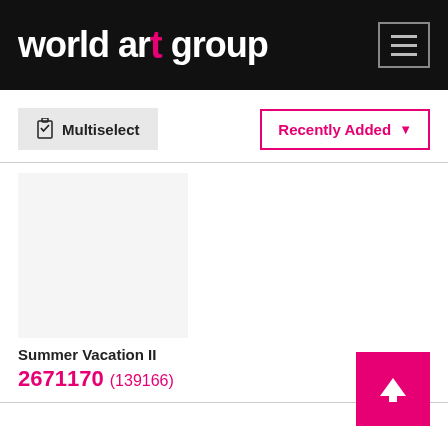world art group
[Figure (screenshot): Multiselect button with clipboard icon and Recently Added dropdown button]
Summer Vacation II
2671170 (139166)
[Figure (other): Back to top arrow button (pink/magenta square with white upward arrow)]